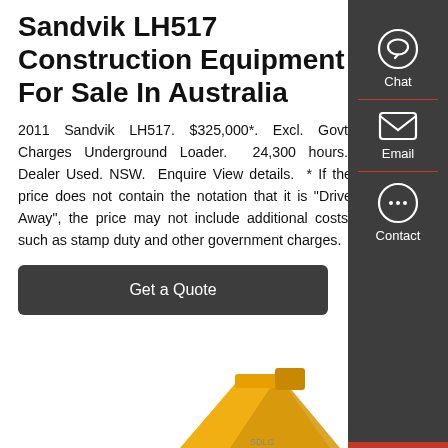Sandvik LH517 Construction Equipment For Sale In Australia
2011 Sandvik LH517. $325,000*. Excl. Govt. Charges Underground Loader. 24,300 hours. Dealer Used. NSW. Enquire View details. * If the price does not contain the notation that it is "Drive Away", the price may not include additional costs, such as stamp duty and other government charges.
[Figure (screenshot): Get a Quote button — dark grey rounded rectangle with white text]
[Figure (photo): Partial image of yellow Sandvik underground loader construction equipment arm visible at bottom of page]
[Figure (infographic): Dark grey side panel with Chat (speech bubble icon), Email (envelope icon), and Contact (speech bubble with dots icon) buttons, with red dividers between sections]